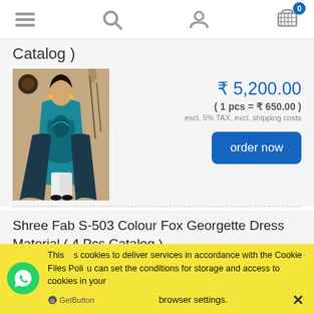Navigation header with menu, search, user, and cart icons (0 items)
Catalog )
[Figure (photo): Woman in teal/turquoise Pakistani dress with embroidery and printed dupatta]
₹ 5,200.00
( 1 pcs = ₹ 650.00 )
excl. 5% TAX, excl. shipping costs
order now
Shree Fab S-503 Colour Fox Georgette Dress Material ( 4 Pcs Catalog )
This site uses cookies to deliver services in accordance with the Cookie Files Policy. You can set the conditions for storage and access to cookies in your browser settings.